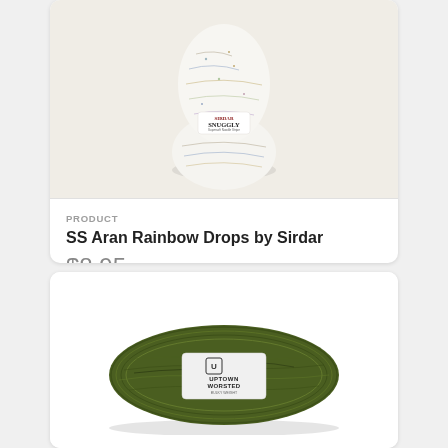[Figure (photo): Ball of Sirdar Snuggly Aran Rainbow Drops yarn, white with multicolor flecks, shown on a light beige background]
PRODUCT
SS Aran Rainbow Drops by Sirdar
$8.95
[Figure (photo): Skein of Uptown Worsted yarn in olive/dark green color with a white label band]